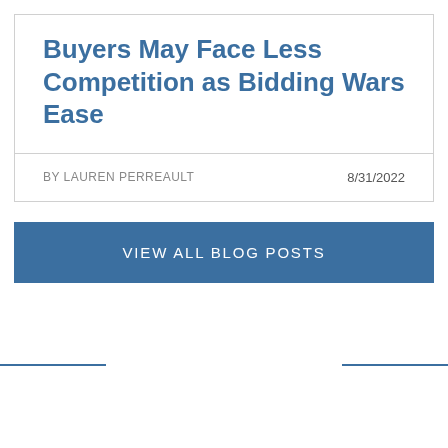Buyers May Face Less Competition as Bidding Wars Ease
BY LAUREN PERREAULT    8/31/2022
VIEW ALL BLOG POSTS